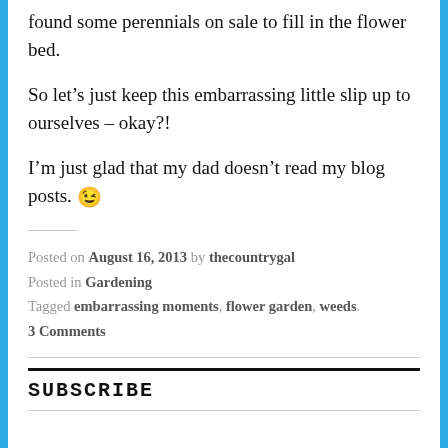found some perennials on sale to fill in the flower bed.
So let’s just keep this embarrassing little slip up to ourselves – okay?!
I’m just glad that my dad doesn’t read my blog posts. 😉
Posted on August 16, 2013 by thecountrygal
Posted in Gardening
Tagged embarrassing moments, flower garden, weeds.
3 Comments
SUBSCRIBE